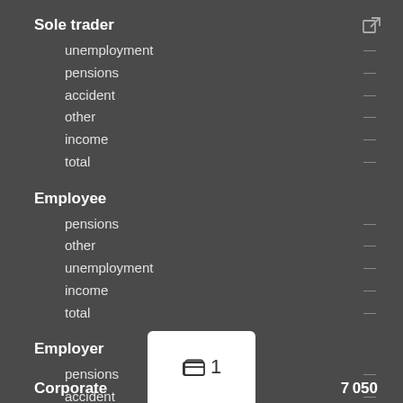Sole trader
unemployment
pensions
accident
other
income
total
Employee
pensions
other
unemployment
income
total
Employer
pensions
accident
unemployment
other
total
Corporate
7 050